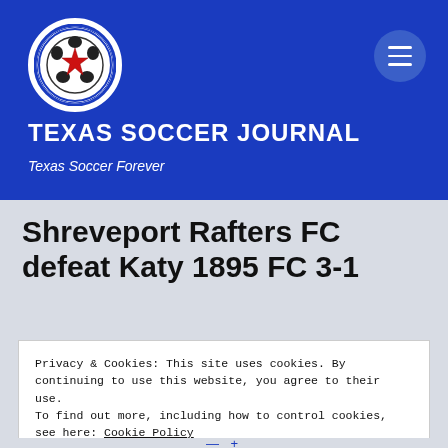[Figure (logo): Texas Soccer Journal circular logo with a red star on a soccer ball, blue and white colors, with text 'TEXAS SOCCER JOURNAL' around the border]
TEXAS SOCCER JOURNAL
Texas Soccer Forever
Shreveport Rafters FC defeat Katy 1895 FC 3-1
Privacy & Cookies: This site uses cookies. By continuing to use this website, you agree to their use.
To find out more, including how to control cookies, see here: Cookie Policy
Close and accept